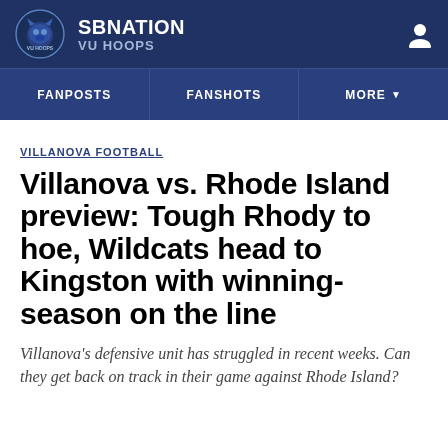SBNATION VU HOOPS
FANPOSTS | FANSHOTS | MORE
VILLANOVA FOOTBALL
Villanova vs. Rhode Island preview: Tough Rhody to hoe, Wildcats head to Kingston with winning-season on the line
Villanova's defensive unit has struggled in recent weeks. Can they get back on track in their game against Rhode Island?